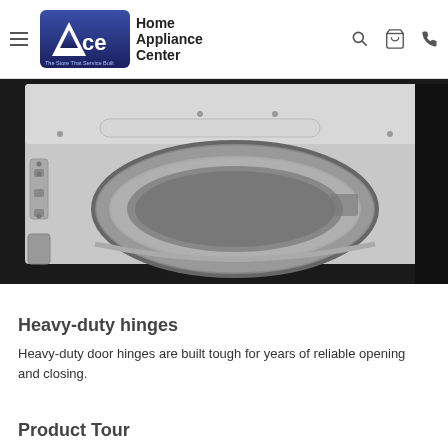Ace Home Appliance Center — The Store That Service Built
[Figure (photo): Close-up black and white photo of a top-load washing machine or dryer with the lid open, showing heavy-duty door hinges and the inner drum opening with rubber gasket.]
Heavy-duty hinges
Heavy-duty door hinges are built tough for years of reliable opening and closing.
Product Tour